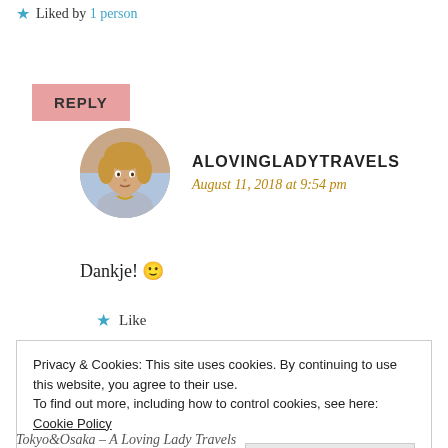★ Liked by 1 person
REPLY
ALOVINGLADYTRAVELS
August 11, 2018 at 9:54 pm
Dankje! 🙂
★ Like
Privacy & Cookies: This site uses cookies. By continuing to use this website, you agree to their use.
To find out more, including how to control cookies, see here: Cookie Policy
Close and accept
Tokyo&Osaka – A Loving Lady Travels